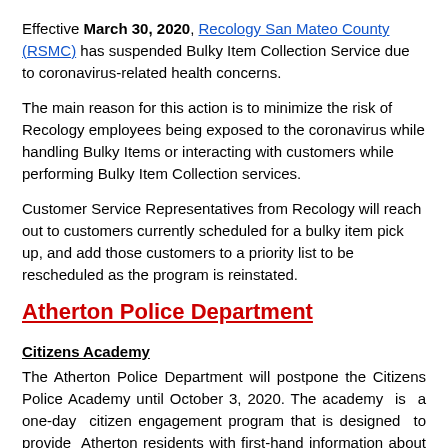Effective March 30, 2020, Recology San Mateo County (RSMC) has suspended Bulky Item Collection Service due to coronavirus-related health concerns.
The main reason for this action is to minimize the risk of Recology employees being exposed to the coronavirus while handling Bulky Items or interacting with customers while performing Bulky Item Collection services.
Customer Service Representatives from Recology will reach out to customers currently scheduled for a bulky item pick up, and add those customers to a priority list to be rescheduled as the program is reinstated.
Atherton Police Department
Citizens Academy
The Atherton Police Department will postpone the Citizens Police Academy until October 3, 2020. The academy is a one-day citizen engagement program that is designed to provide Atherton residents with first-hand information about how their Police Department works. Training will be in an "academy setting" with a few hands-on exercises